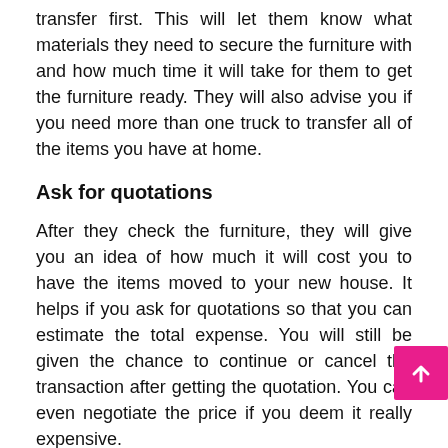transfer first. This will let them know what materials they need to secure the furniture with and how much time it will take for them to get the furniture ready. They will also advise you if you need more than one truck to transfer all of the items you have at home.
Ask for quotations
After they check the furniture, they will give you an idea of how much it will cost you to have the items moved to your new house. It helps if you ask for quotations so that you can estimate the total expense. You will still be given the chance to continue or cancel the transaction after getting the quotation. You can even negotiate the price if you deem it really expensive.
Supervise the transfer
Though removal companies are trustworthy, your